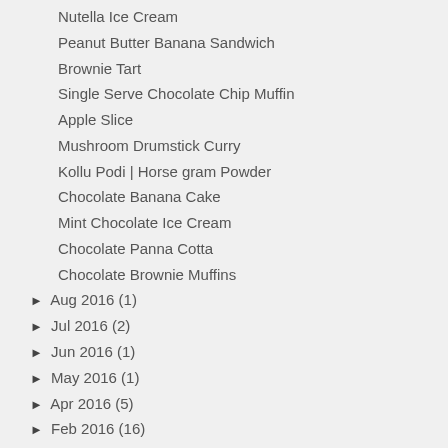Nutella Ice Cream
Peanut Butter Banana Sandwich
Brownie Tart
Single Serve Chocolate Chip Muffin
Apple Slice
Mushroom Drumstick Curry
Kollu Podi | Horse gram Powder
Chocolate Banana Cake
Mint Chocolate Ice Cream
Chocolate Panna Cotta
Chocolate Brownie Muffins
► Aug 2016 (1)
► Jul 2016 (2)
► Jun 2016 (1)
► May 2016 (1)
► Apr 2016 (5)
► Feb 2016 (16)
► Jan 2016 (22)
► 2015 (216)